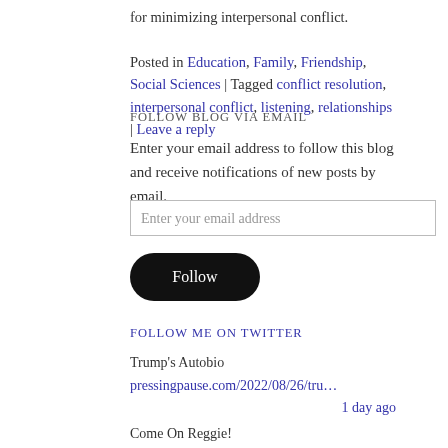for minimizing interpersonal conflict. Posted in Education, Family, Friendship, Social Sciences | Tagged conflict resolution, interpersonal conflict, listening, relationships | Leave a reply
FOLLOW BLOG VIA EMAIL
Enter your email address to follow this blog and receive notifications of new posts by email.
Enter your email address
Follow
FOLLOW ME ON TWITTER
Trump's Autobio
pressingpause.com/2022/08/26/tru…
1 day ago
Come On Reggie!